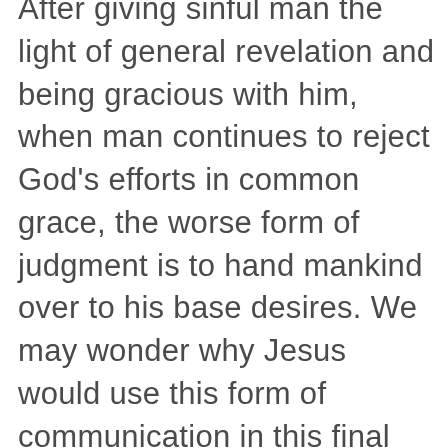After giving sinful man the light of general revelation and being gracious with him, when man continues to reject God's efforts in common grace, the worse form of judgment is to hand mankind over to his base desires. We may wonder why Jesus would use this form of communication in this final invitation of Revelation.  In short, it is to escalate the urgency of the appeal.  There is no such thing as apathy.  Either people will remain as they are and perish (which would be their own fault) or respond to the appeal of Jesus (which can only be credit to the Spirit's